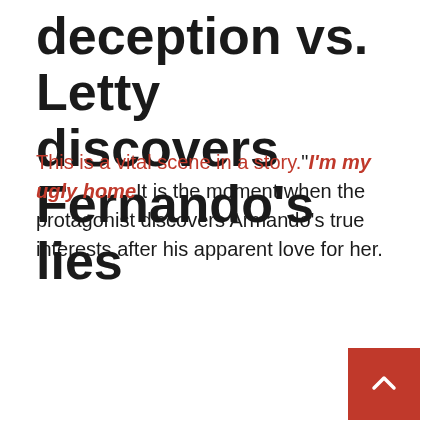deception vs. Letty discovers Fernando's lies
This is a vital scene in a story."I'm my ugly homeIt is the moment when the protagonist discovers Armando's true interests after his apparent love for her.